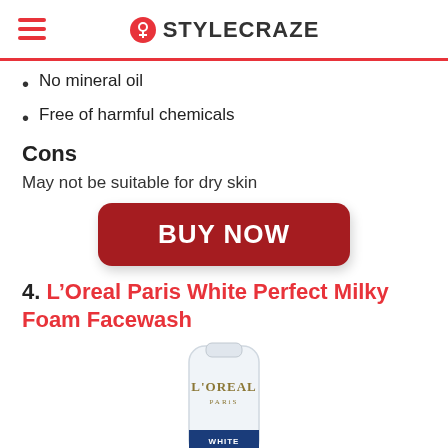STYLECRAZE
No mineral oil
Free of harmful chemicals
Cons
May not be suitable for dry skin
[Figure (other): BUY NOW button — dark red rounded rectangle with white bold text]
4. L’Oreal Paris White Perfect Milky Foam Facewash
[Figure (photo): L'Oreal Paris White Perfect Milky Foam Facewash tube product photo on white background]